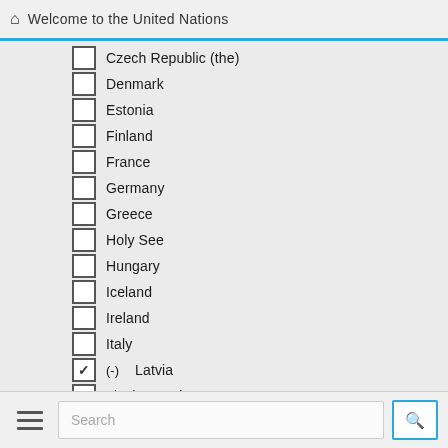Welcome to the United Nations
Czech Republic (the)
Denmark
Estonia
Finland
France
Germany
Greece
Holy See
Hungary
Iceland
Ireland
Italy
(-) Latvia
Liechtenstein
Lithuania
Luxembourg